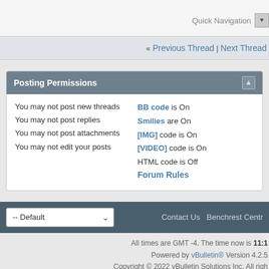Quick Navigation
« Previous Thread | Next Thread
Posting Permissions
You may not post new threads
You may not post replies
You may not post attachments
You may not edit your posts
BB code is On
Smilies are On
[IMG] code is On
[VIDEO] code is On
HTML code is Off
Forum Rules
-- Default
Contact Us  Benchrest Centr
All times are GMT -4. The time now is 11:1
Powered by vBulletin® Version 4.2.5
Copyright © 2022 vBulletin Solutions Inc. All right